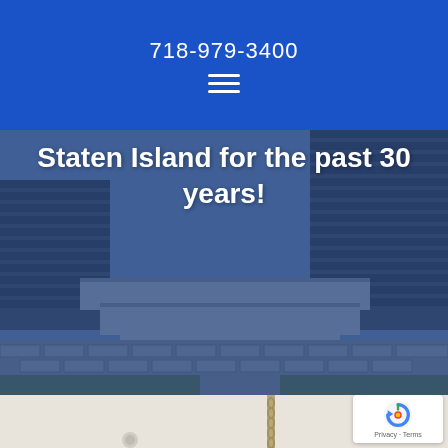718-979-3400
[Figure (screenshot): Blue header bar with phone number 718-979-3400 and hamburger menu icon on blue background]
[Figure (photo): Outdoor paver/masonry landscape with stone steps and brick paving, overlaid with blue tint and white bold text reading 'Staten Island for the past 30 years!']
Staten Island for the past 30 years!
[Figure (photo): Close-up of white ceiling or surface with a hanging chain, partially visible. reCAPTCHA badge visible in bottom right corner.]